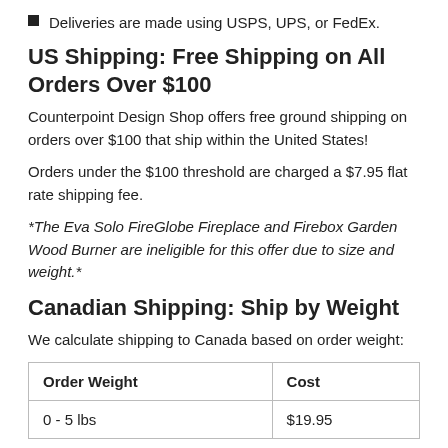Deliveries are made using USPS, UPS, or FedEx.
US Shipping: Free Shipping on All Orders Over $100
Counterpoint Design Shop offers free ground shipping on orders over $100 that ship within the United States!
Orders under the $100 threshold are charged a $7.95 flat rate shipping fee.
*The Eva Solo FireGlobe Fireplace and Firebox Garden Wood Burner are ineligible for this offer due to size and weight.*
Canadian Shipping: Ship by Weight
We calculate shipping to Canada based on order weight:
| Order Weight | Cost |
| --- | --- |
| 0 - 5 lbs | $19.95 |